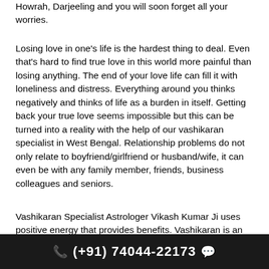Howrah, Darjeeling and you will soon forget all your worries.
Losing love in one's life is the hardest thing to deal. Even that's hard to find true love in this world more painful than losing anything. The end of your love life can fill it with loneliness and distress. Everything around you thinks negatively and thinks of life as a burden in itself. Getting back your true love seems impossible but this can be turned into a reality with the help of our vashikaran specialist in West Bengal. Relationship problems do not only relate to boyfriend/girlfriend or husband/wife, it can even be with any family member, friends, business colleagues and seniors.
Vashikaran Specialist Astrologer Vikash Kumar Ji uses positive energy that provides benefits. Vashikaran is an effective and boundless technique that helps you succeed in your desire. Vashikaran mantras have positively...
(+91) 74044-22173